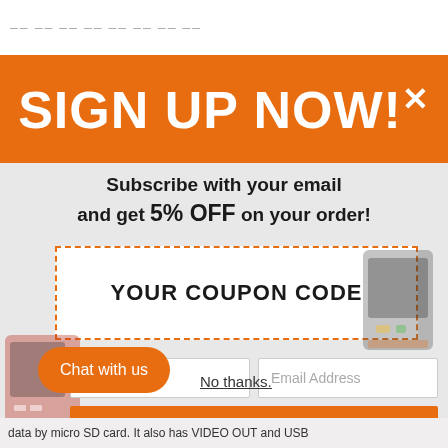SIGN UP NOW!*
Subscribe with your email and get 5% OFF on your order!
YOUR COUPON CODE
Name
Email Address
VIEW COUPON
Chat with us
No thanks.
data by micro SD card. It also has VIDEO OUT and USB